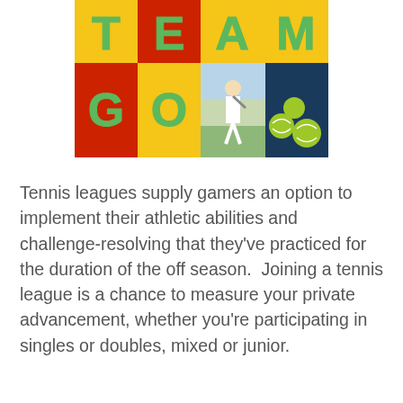[Figure (illustration): Colorful TEAM GO logo with red, yellow, and green squares containing green block letters T, E, A, M on top row and G, O on second row, alongside photos of a female tennis player and tennis balls on a court.]
Tennis leagues supply gamers an option to implement their athletic abilities and challenge-resolving that they've practiced for the duration of the off season.  Joining a tennis league is a chance to measure your private advancement, whether you're participating in singles or doubles, mixed or junior.